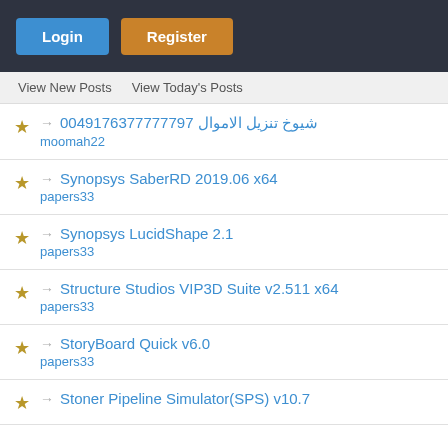Login | Register
View New Posts   View Today's Posts
→ شيوخ تنزيل الاموال 00491763777777​97
moomah22
→ Synopsys SaberRD 2019.06 x64
papers33
→ Synopsys LucidShape 2.1
papers33
→ Structure Studios VIP3D Suite v2.511 x64
papers33
→ StoryBoard Quick v6.0
papers33
→ Stoner Pipeline Simulator(SPS) v10.7